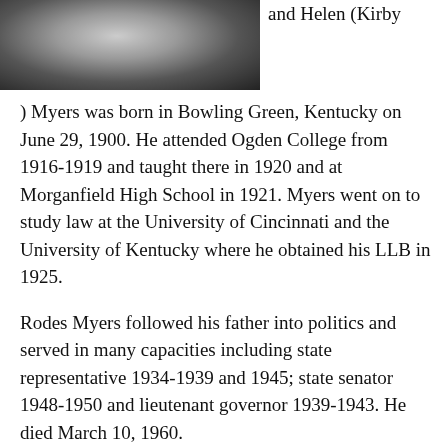[Figure (photo): Black and white photograph of a person, partially visible, likely from early 20th century]
and Helen (Kirby) Myers was born in Bowling Green, Kentucky on June 29, 1900. He attended Ogden College from 1916-1919 and taught there in 1920 and at Morganfield High School in 1921. Myers went on to study law at the University of Cincinnati and the University of Kentucky where he obtained his LLB in 1925.
Rodes Myers followed his father into politics and served in many capacities including state representative 1934-1939 and 1945; state senator 1948-1950 and lieutenant governor 1939-1943. He died March 10, 1960.
He appears in this photo with other members of the Ogden College Orchestra in 1917. They are sitting l to r: Joseph Jones, Horace Huddle and